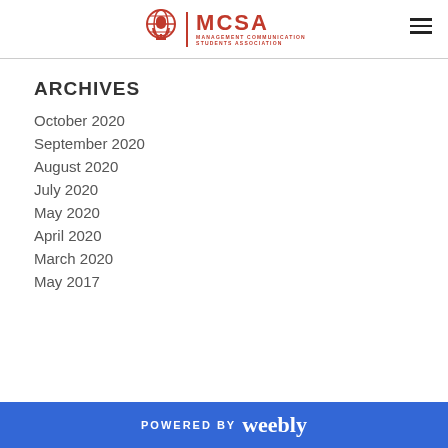MCSA Management Communication Students Association
ARCHIVES
October 2020
September 2020
August 2020
July 2020
May 2020
April 2020
March 2020
May 2017
POWERED BY weebly